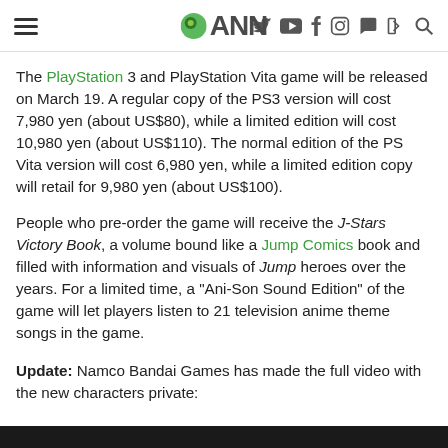ANN (Anime News Network) website header with logo, hamburger menu, and social icons
The PlayStation 3 and PlayStation Vita game will be released on March 19. A regular copy of the PS3 version will cost 7,980 yen (about US$80), while a limited edition will cost 10,980 yen (about US$110). The normal edition of the PS Vita version will cost 6,980 yen, while a limited edition copy will retail for 9,980 yen (about US$100).
People who pre-order the game will receive the J-Stars Victory Book, a volume bound like a Jump Comics book and filled with information and visuals of Jump heroes over the years. For a limited time, a "Ani-Son Sound Edition" of the game will let players listen to 21 television anime theme songs in the game.
Update: Namco Bandai Games has made the full video with the new characters private: